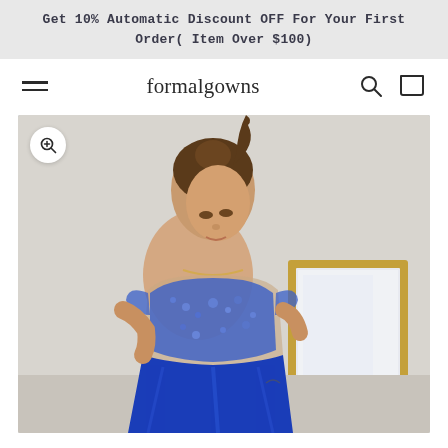Get 10% Automatic Discount OFF For Your First Order( Item Over $100)
formalgowns
[Figure (photo): E-commerce website screenshot showing a young woman modeling a two-piece royal blue prom dress with a beaded lace crop top and satin skirt. A gold-framed mirror is visible in the background. Navigation bar shows 'formalgowns' logo, hamburger menu, search and cart icons. A promotional banner at top reads 'Get 10% Automatic Discount OFF For Your First Order( Item Over $100)'. A zoom icon button appears in the top left of the product image.]